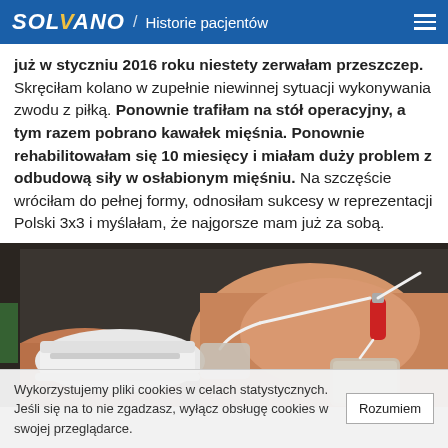SOLVANO / Historie pacjentów
już w styczniu 2016 roku niestety zerwałam przeszczep. Skręciłam kolano w zupełnie niewinnej sytuacji wykonywania zwodu z piłką. Ponownie trafiłam na stół operacyjny, a tym razem pobrano kawałek mięśnia. Ponownie rehabilitowałam się 10 miesięcy i miałam duży problem z odbudową siły w osłabionym mięśniu. Na szczęście wróciłam do pełnej formy, odnosiłam sukcesy w reprezentacji Polski 3x3 i myślałam, że najgorsze mam już za sobą.
[Figure (photo): Close-up photo of a person's knee/leg with TENS/EMS electrotherapy electrodes attached via white cables and a red connector, white sneaker visible in background, taken in a rehabilitation or gym setting.]
Wykorzystujemy pliki cookies w celach statystycznych. Jeśli się na to nie zgadzasz, wyłącz obsługę cookies w swojej przeglądarce. Rozumiem